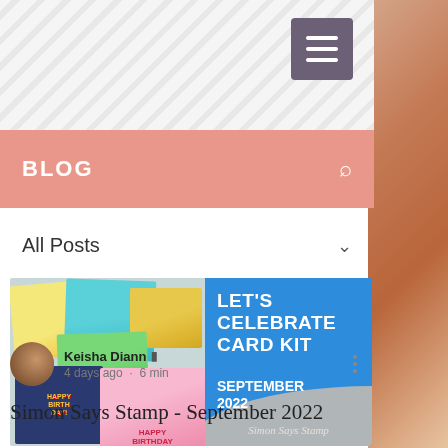BLOG
All Posts
[Figure (photo): Blog post thumbnail showing colorful handmade greeting cards with text overlay reading 'LET'S CELEBRATE CARD KIT SEPTEMBER 2022 Simon Says Stamp' on a blue background]
Keisha Diann ■ 4 days ago · 6 min
Simon Says Stamp - September 2022